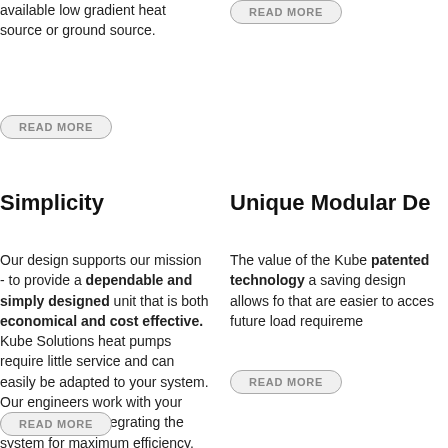available low gradient heat source or ground source.
READ MORE
READ MORE
Simplicity
Unique Modular De
Our design supports our mission - to provide a dependable and simply designed unit that is both economical and cost effective. Kube Solutions heat pumps require little service and can easily be adapted to your system. Our engineers work with your design team in integrating the system for maximum efficiency.
The value of the Kube patented technology a saving design allows fo that are easier to acces future load requireme
READ MORE
READ MORE